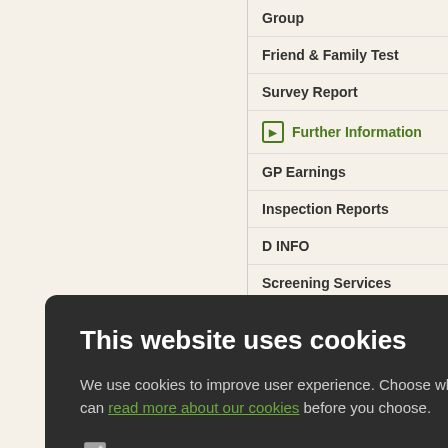Group
Friend & Family Test
Survey Report
Further Information
GP Earnings
Inspection Reports
D INFO
Screening Services
ness Certificates
ul Contacts
mary Care Record
nt Advice
rtension advice
ur Health
ly Health
g Term Conditions
Minor Illness
This website uses cookies
We use cookies to improve user experience. Choose what cookies you allow us to use. You can read more about our cookies before you choose.
STRICTLY NECESSARY
PERFORMANCE
TARGETING
FUNCTIONALITY
ACCEPT ALL
DECLINE ALL